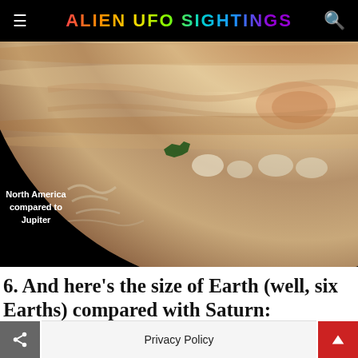ALIEN UFO SIGHTINGS
[Figure (photo): Close-up photograph of Jupiter's surface showing cloud bands and swirls, with a small silhouette labeled 'North America compared to Jupiter' overlaid in the lower-left area against the black space background.]
6. And here’s the size of Earth (well, six Earths) compared with Saturn:
Privacy Policy